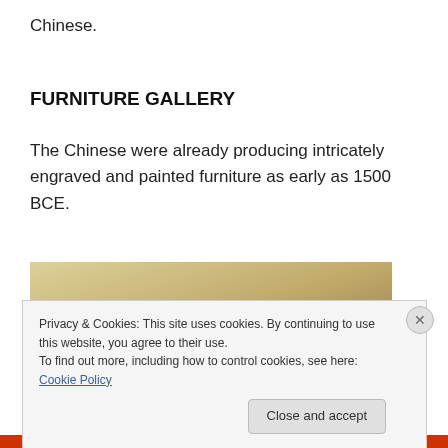Chinese.
FURNITURE GALLERY
The Chinese were already producing intricately engraved and painted furniture as early as 1500 BCE.
[Figure (photo): Photo of Chinese engraved wooden furniture piece, partially visible at the bottom of the page, against a warm tan/beige background.]
Privacy & Cookies: This site uses cookies. By continuing to use this website, you agree to their use.
To find out more, including how to control cookies, see here: Cookie Policy
Close and accept